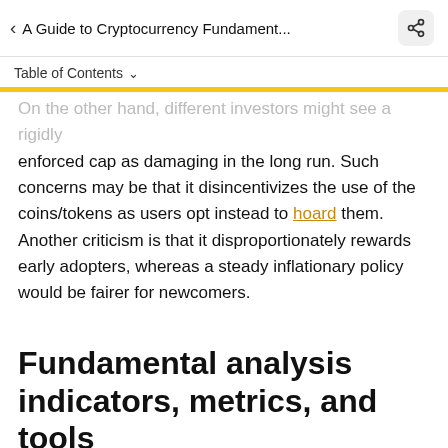< A Guide to Cryptocurrency Fundament...
Table of Contents
On the other hand, different investors might see a rigidly enforced cap as damaging in the long run. Such concerns may be that it disincentivizes the use of the coins/tokens as users opt instead to hoard them. Another criticism is that it disproportionately rewards early adopters, whereas a steady inflationary policy would be fairer for newcomers.
Fundamental analysis indicators, metrics, and tools